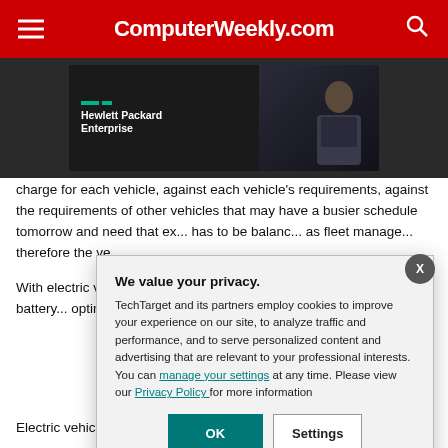ComputerWeekly.com
[Figure (screenshot): Hewlett Packard Enterprise advertisement banner with person in background on dark background]
charge for each vehicle, against each vehicle's requirements, against the requirements of other vehicles that may have a busier schedule tomorrow and need that ex... has to be balanc... as fleet manage... therefore the ve...
With electric veh... about each journ... add new insight ... and each battery... optimisation.
We value your privacy. TechTarget and its partners employ cookies to improve your experience on our site, to analyze traffic and performance, and to serve personalized content and advertising that are relevant to your professional interests. You can manage your settings at any time. Please view our Privacy Policy for more information
Electric vehicles